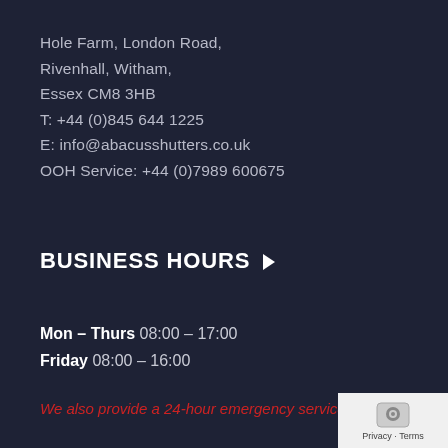Hole Farm, London Road,
Rivenhall, Witham,
Essex CM8 3HB
T: +44 (0)845 644 1225
E: info@abacusshutters.co.uk
OOH Service: +44 (0)7989 600675
BUSINESS HOURS
Mon – Thurs 08:00 – 17:00
Friday 08:00 – 16:00
We also provide a 24-hour emergency service.